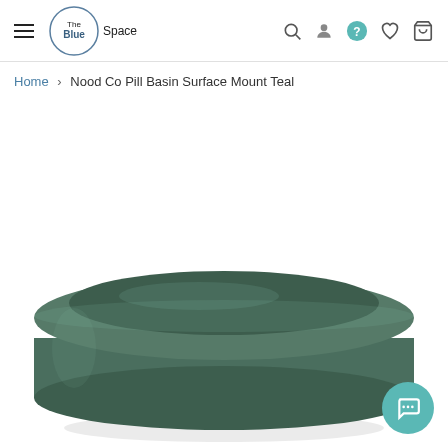The Blue Space — navigation header with logo, search, user, help, wishlist, and cart icons
Home › Nood Co Pill Basin Surface Mount Teal
[Figure (photo): Teal/dark green oval pill-shaped bathroom basin surface mount basin, viewed from a slight angle above, on a white background. The basin is wide, shallow and rounded with a smooth matte finish.]